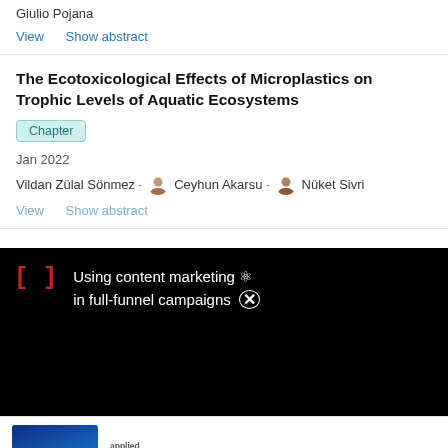Giulio Pojana
View    Show abstract
The Ecotoxicological Effects of Microplastics on Trophic Levels of Aquatic Ecosystems
Chapter
Jan 2022
Vildan Zülal Sönmez · Ceyhun Akarsu · Nüket Sivri
View    Show abstract
[Figure (screenshot): Black overlay advertisement banner with red bracket symbol and white text: Using content marketing in full-funnel campaigns, with close X button]
[Figure (photo): Applied Biosystems advertisement with blue infinity symbol logo and text: Free T-Shirt anyone?]